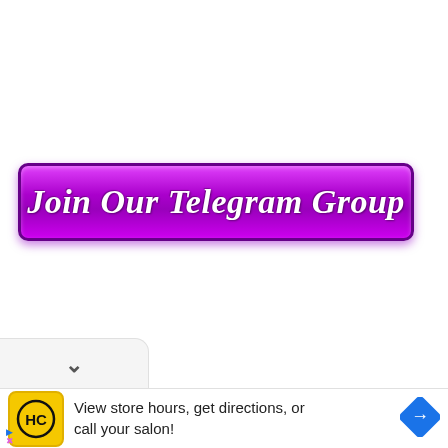[Figure (other): A purple gradient button with white bold italic text reading 'Join Our Telegram Group', with rounded corners and a decorative border.]
[Figure (other): A UI chevron/dropdown toggle element — a light gray rounded tab with a downward chevron arrow symbol.]
[Figure (other): An advertisement banner showing an HC (Hair Club) yellow logo, text 'View store hours, get directions, or call your salon!', and a blue navigation diamond icon.]